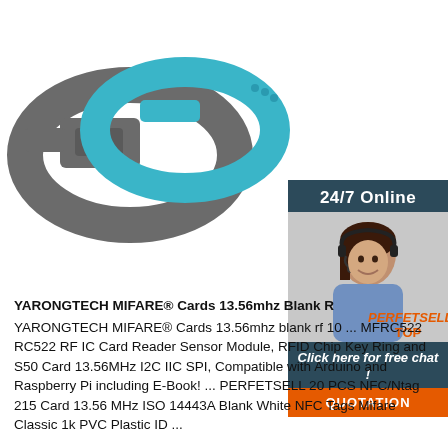[Figure (photo): Product photo showing two RFID wristbands - one gray and one blue/teal, overlapping on white background]
[Figure (photo): Sidebar with 24/7 Online customer service representative (woman with headset smiling), dark teal background, with 'Click here for free chat!' text and orange QUOTATION button]
YARONGTECH MIFARE® Cards 13.56mhz Blank R
YARONGTECH MIFARE® Cards 13.56mhz blank rf 10 ... MFRC522 RC522 RF IC Card Reader Sensor Module, RFID Chip Key Ring and S50 Card 13.56MHz I2C IIC SPI, Compatible with Arduino and Raspberry Pi including E-Book! ... PERFETSELL 20 PCS NFC/Ntag 215 Card 13.56 MHz ISO 14443A Blank White NFC Tags Mifare Classic 1k PVC Plastic ID ...